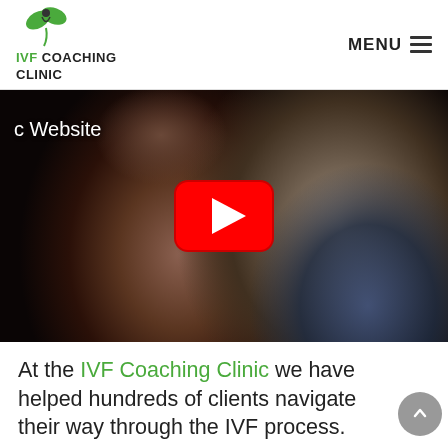IVF COACHING CLINIC — MENU
[Figure (screenshot): Video thumbnail showing a couple close together, woman in foreground with eyes closed, man beside her. A YouTube-style red play button is centered on the video. Text overlay reads 'c Website' in white on the upper left.]
At the IVF Coaching Clinic we have helped hundreds of clients navigate their way through the IVF process.